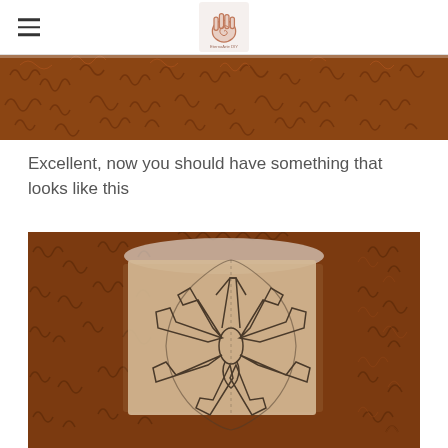EternoArte DIY logo
[Figure (photo): Close-up photo of curly reddish-brown fur or hair, cropped view showing top portion]
Excellent, now you should have something that looks like this
[Figure (photo): Photo of a paper pattern piece with a snowflake or star-like shape drawn on it, laid flat on curly reddish-brown fur background. The pattern shows a symmetrical design with petal-like cutout shapes arranged in a circle with a keyhole shape in the center.]